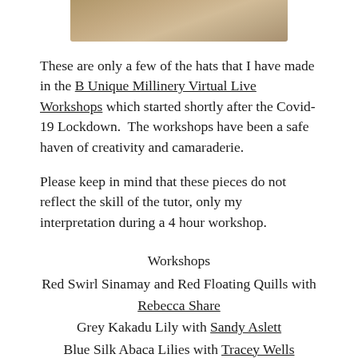[Figure (photo): Partial photo strip at top of page showing hats, cropped at bottom of image]
These are only a few of the hats that I have made in the B Unique Millinery Virtual Live Workshops which started shortly after the Covid-19 Lockdown. The workshops have been a safe haven of creativity and camaraderie.
Please keep in mind that these pieces do not reflect the skill of the tutor, only my interpretation during a 4 hour workshop.
Workshops
Red Swirl Sinamay and Red Floating Quills with Rebecca Share
Grey Kakadu Lily with Sandy Aslett
Blue Silk Abaca Lilies with Tracey Wells
Blue & White Bows with Neil Grigg